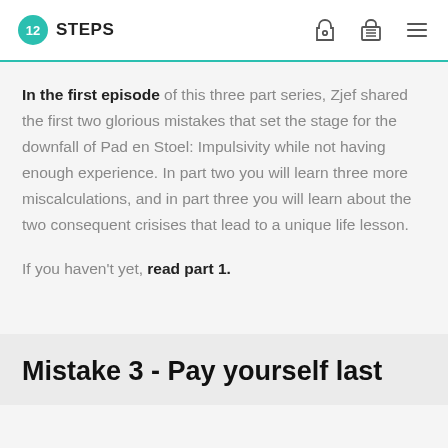12 STEPS
In the first episode of this three part series, Zjef shared the first two glorious mistakes that set the stage for the downfall of Pad en Stoel: Impulsivity while not having enough experience. In part two you will learn three more miscalculations, and in part three you will learn about the two consequent crisises that lead to a unique life lesson.
If you haven't yet, read part 1.
Mistake 3 - Pay yourself last